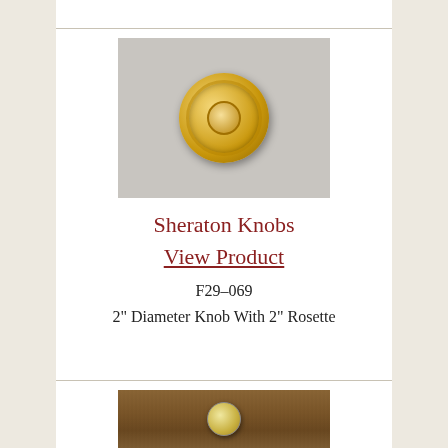[Figure (photo): Gold ornate Sheraton knob with decorative rosette pattern, photographed against a gray background]
Sheraton Knobs
View Product
F29-069
2" Diameter Knob With 2" Rosette
[Figure (photo): Small brass/gold knob photographed against a wood surface background]